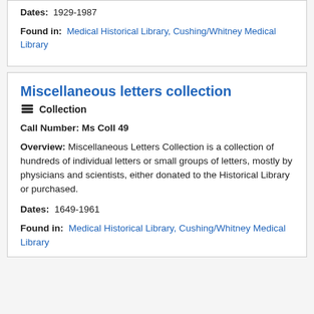Dates: 1929-1987
Found in: Medical Historical Library, Cushing/Whitney Medical Library
Miscellaneous letters collection
Collection
Call Number: Ms Coll 49
Overview: Miscellaneous Letters Collection is a collection of hundreds of individual letters or small groups of letters, mostly by physicians and scientists, either donated to the Historical Library or purchased.
Dates: 1649-1961
Found in: Medical Historical Library, Cushing/Whitney Medical Library